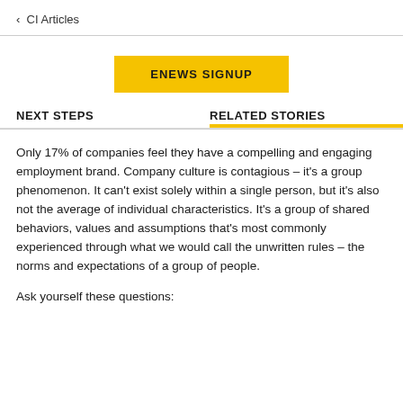< CI Articles
[Figure (other): ENEWS SIGNUP button — yellow/gold rectangular button with bold uppercase text]
NEXT STEPS
RELATED STORIES
Only 17% of companies feel they have a compelling and engaging employment brand. Company culture is contagious – it's a group phenomenon. It can't exist solely within a single person, but it's also not the average of individual characteristics. It's a group of shared behaviors, values and assumptions that's most commonly experienced through what we would call the unwritten rules – the norms and expectations of a group of people.
Ask yourself these questions: